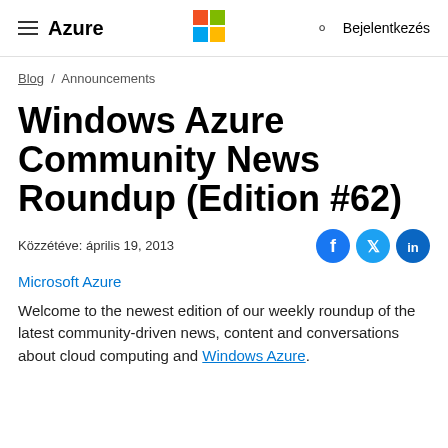Azure | Microsoft logo | Bejelentkezés
Blog / Announcements
Windows Azure Community News Roundup (Edition #62)
Közzétéve: április 19, 2013
Microsoft Azure
Welcome to the newest edition of our weekly roundup of the latest community-driven news, content and conversations about cloud computing and Windows Azure.